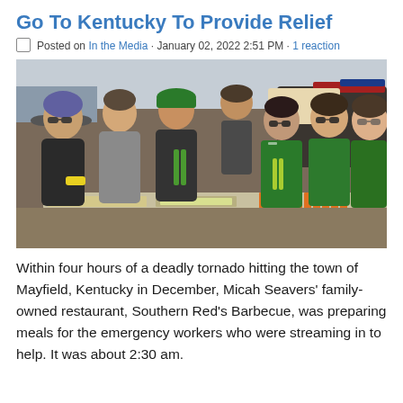Go To Kentucky To Provide Relief
Posted on In the Media · January 02, 2022 2:51 PM · 1 reaction
[Figure (photo): Group of volunteers in green aprons standing behind a food preparation table with vegetables including carrots and celery outdoors.]
Within four hours of a deadly tornado hitting the town of Mayfield, Kentucky in December, Micah Seavers' family-owned restaurant, Southern Red's Barbecue, was preparing meals for the emergency workers who were streaming in to help. It was about 2:30 am.